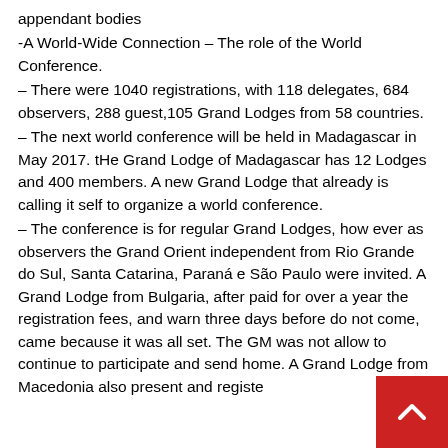appendant bodies
-A World-Wide Connection – The role of the World Conference.
– There were 1040 registrations, with 118 delegates, 684 observers, 288 guest,105 Grand Lodges from 58 countries.
– The next world conference will be held in Madagascar in May 2017. tHe Grand Lodge of Madagascar has 12 Lodges and 400 members. A new Grand Lodge that already is calling it self to organize a world conference.
– The conference is for regular Grand Lodges, how ever as observers the Grand Orient independent from Rio Grande do Sul, Santa Catarina, Paraná e São Paulo were invited. A Grand Lodge from Bulgaria, after paid for over a year the registration fees, and warn three days before do not come, came because it was all set. The GM was not allow to continue to participate and send home. A Grand Lodge from Macedonia also present and registe